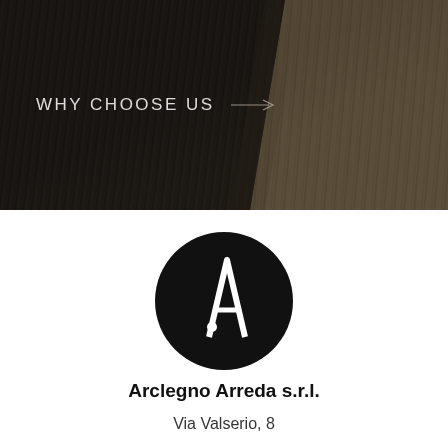[Figure (photo): Close-up photograph of wooden blocks/boards showing dark charred wood on the left and natural light wood grain on the right, meeting at a diagonal edge]
WHY CHOOSE US →
[Figure (logo): Arclegno Arreda s.r.l. logo: black circle with white stylized letter A (resembling a tall serif A with a detached dot/period at lower left)]
Arclegno Arreda s.r.l.
Via Valserio, 8